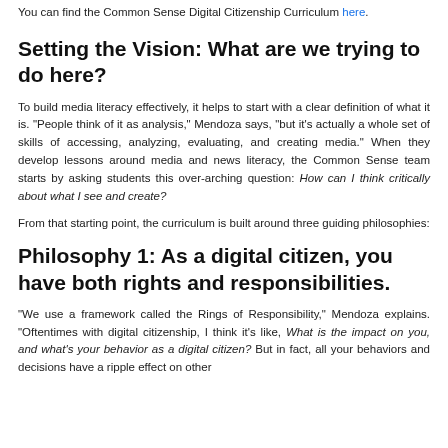You can find the Common Sense Digital Citizenship Curriculum here.
Setting the Vision: What are we trying to do here?
To build media literacy effectively, it helps to start with a clear definition of what it is. "People think of it as analysis," Mendoza says, "but it's actually a whole set of skills of accessing, analyzing, evaluating, and creating media." When they develop lessons around media and news literacy, the Common Sense team starts by asking students this over-arching question: How can I think critically about what I see and create?
From that starting point, the curriculum is built around three guiding philosophies:
Philosophy 1: As a digital citizen, you have both rights and responsibilities.
"We use a framework called the Rings of Responsibility," Mendoza explains. "Oftentimes with digital citizenship, I think it's like, What is the impact on you, and what's your behavior as a digital citizen? But in fact, all your behaviors and decisions have a ripple effect on other